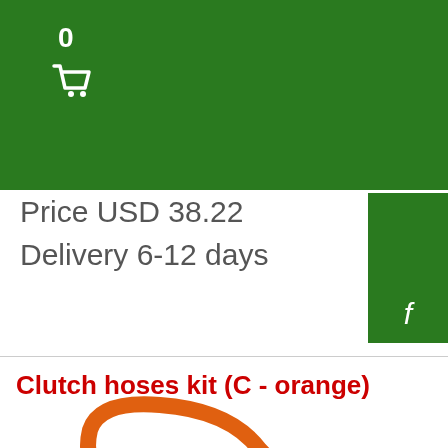0
Price USD 38.22
Delivery 6-12 days
Clutch hoses kit (C - orange)
[Figure (photo): Orange clutch hose kit curved tube with fittings]